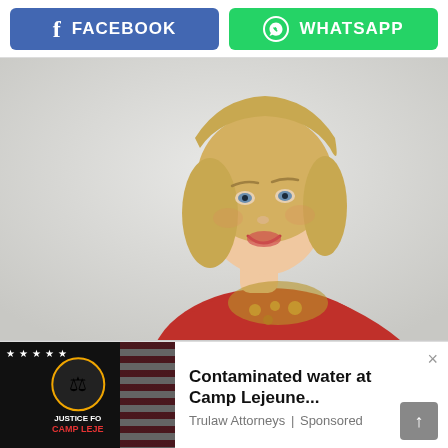[Figure (other): Share buttons bar with Facebook (blue) and WhatsApp (green) buttons]
[Figure (photo): Blonde woman in red embroidered top smiling, photographed against a light brick/white wall background]
[Figure (other): Justice for Camp Lejeune advertisement logo on dark background]
Contaminated water at Camp Lejeune...
Trulaw Attorneys | Sponsored